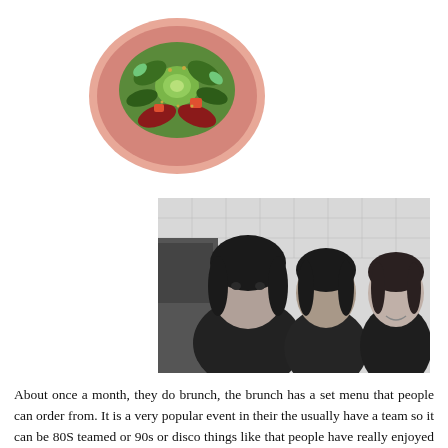[Figure (photo): A colourful salad dish served on a pink/terracotta plate, featuring green leaves, avocado, tomatoes, and seeds]
[Figure (photo): Black and white photo of three young women standing together in what appears to be a kitchen, all wearing black clothing and smiling]
About once a month, they do brunch, the brunch has a set menu that people can order from. It is a very popular event in their the usually have a team so it can be 80S teamed or 90s or disco things like that people have really enjoyed I can see, and as well they have a DJ and because the kitchen is open planned, we can see all